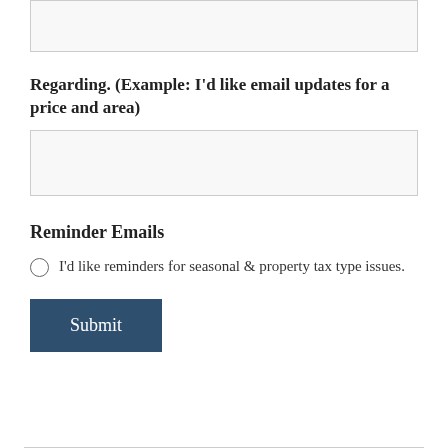(top input box — partial, cropped)
Regarding. (Example: I'd like email updates for a price and area)
(text input box)
Reminder Emails
I'd like reminders for seasonal & property tax type issues.
Submit